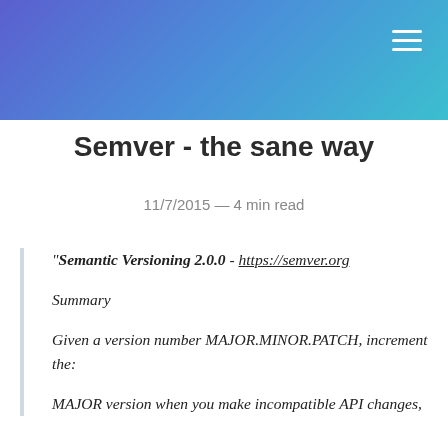Semver - the sane way
11/7/2015 — 4 min read
“Semantic Versioning 2.0.0 - https://semver.org

Summary

Given a version number MAJOR.MINOR.PATCH, increment the:

MAJOR version when you make incompatible API changes,